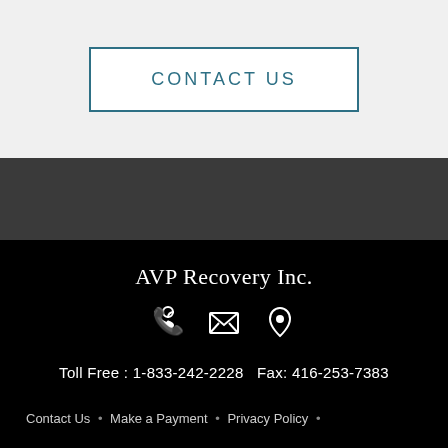CONTACT US
AVP Recovery Inc.
[Figure (illustration): Row of three icons: phone, envelope/mail, and location pin, in white on black background]
Toll Free : 1-833-242-2228    Fax: 416-253-7383
Contact Us  •  Make a Payment  •  Privacy Policy  •